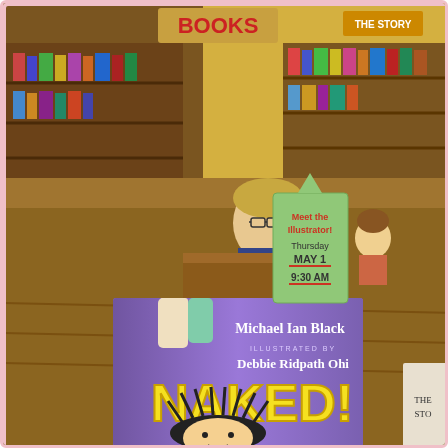[Figure (photo): A photograph taken inside a bookstore showing a children's book titled 'NAKED!' on display. The book cover is purple with large yellow lettering spelling 'NAKED!' and features a cartoon illustration of a wild-haired child. The book is authored by Michael Ian Black and illustrated by Debbie Ridpath Ohi. A handwritten sign on green card stock sticks up from the book reading 'Meet the Illustrator! Thursday MAY 1 9:30 AM'. In the background, the bookstore interior is visible with shelves of books, a woman with glasses sitting at a counter, a child, and store signage including 'BOOKS', 'INFORMATION', and 'THE STORY' on the right edge.]